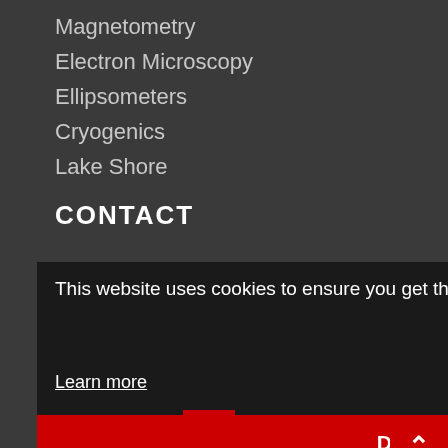Magnetometry
Electron Microscopy
Ellipsometers
Cryogenics
Lake Shore
CONTACT
This website uses cookies to ensure you get the best experience on our website.
Learn more
Dismiss
CONTACT
irk,
Website b    reefrog Design: